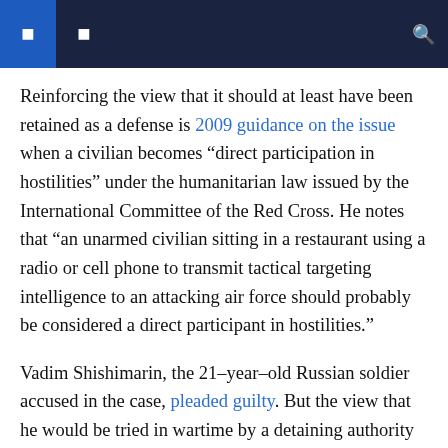[navigation bar with icons]
Reinforcing the view that it should at least have been retained as a defense is 2009 guidance on the issue when a civilian becomes “direct participation in hostilities” under the humanitarian law issued by the International Committee of the Red Cross. He notes that “an unarmed civilian sitting in a restaurant using a radio or cell phone to transmit tactical targeting intelligence to an attacking air force should probably be considered a direct participant in hostilities.”
Vadim Shishimarin, the 21-year-old Russian soldier accused in the case, pleaded guilty. But the view that he would be tried in wartime by a detaining authority engaged in a conflict raises questions about the confession.
The Geneva Conventions are explicit in this sense. no form of coercion can be used to obtain a confession of guilt –